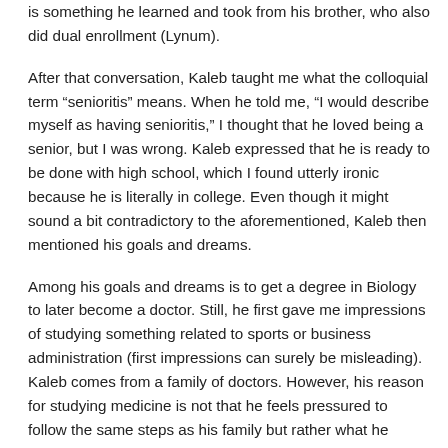is something he learned and took from his brother, who also did dual enrollment (Lynum).
After that conversation, Kaleb taught me what the colloquial term “senioritis” means. When he told me, “I would describe myself as having senioritis,” I thought that he loved being a senior, but I was wrong. Kaleb expressed that he is ready to be done with high school, which I found utterly ironic because he is literally in college. Even though it might sound a bit contradictory to the aforementioned, Kaleb then mentioned his goals and dreams.
Among his goals and dreams is to get a degree in Biology to later become a doctor. Still, he first gave me impressions of studying something related to sports or business administration (first impressions can surely be misleading). Kaleb comes from a family of doctors. However, his reason for studying medicine is not that he feels pressured to follow the same steps as his family but rather what he clarified, “I just want to help people.” His plans for when he graduates from college include creating his own hospital, something he sees as possible due to his leadership skills (Lynum).